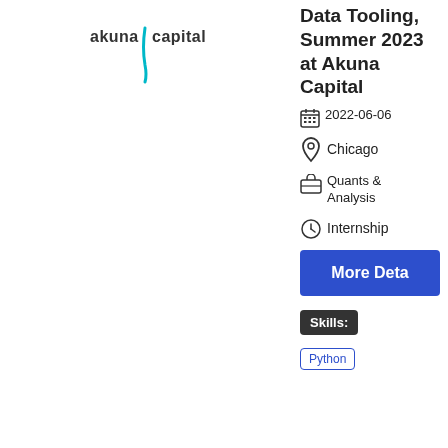[Figure (logo): Akuna Capital logo with teal vertical bar and text 'akuna capital']
Data Tooling, Summer 2023 at Akuna Capital
2022-06-06
Chicago
Quants & Analysis
Internship
More Deta
Skills:
Python